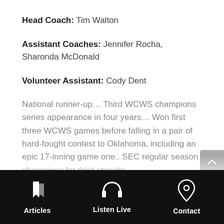Head Coach: Tim Walton
Assistant Coaches: Jennifer Rocha, Sharonda McDonald
Volunteer Assistant: Cody Dent
National runner-up… Third WCWS champions series appearance in four years… Won first three WCWS games before falling in a pair of hard-fought contest to Oklahoma, including an epic 17-inning game one.. SEC regular season champions for third straight
Articles | Listen Live | Contact